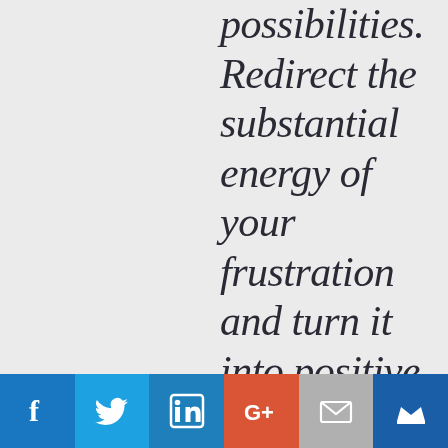possibilities. Redirect the substantial energy of your frustration and turn it into positive, effective, unstoppabl
[Figure (other): Social sharing bar with icons for Facebook, Twitter, LinkedIn, Google+, Email, and a crown/bookmark icon]